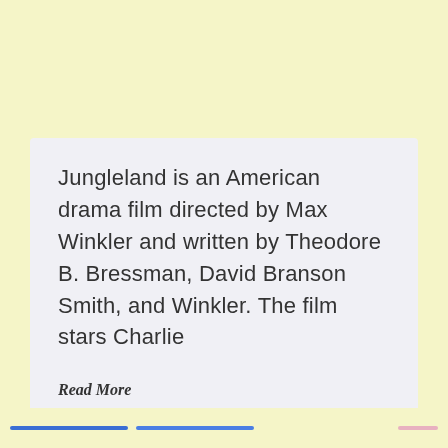Jungleland is an American drama film directed by Max Winkler and written by Theodore B. Bressman, David Branson Smith, and Winkler. The film stars Charlie
Read More